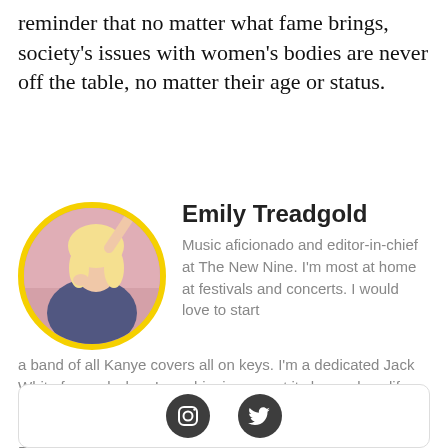reminder that no matter what fame brings, society's issues with women's bodies are never off the table, no matter their age or status.
Emily Treadgold
[Figure (photo): Circular portrait photo of Emily Treadgold with yellow border, showing a blonde woman posing casually]
Music aficionado and editor-in-chief at The New Nine. I'm most at home at festivals and concerts. I would love to start a band of all Kanye covers all on keys. I'm a dedicated Jack White fan and when I saw him in concert it changed my life. I'd never seen someone so passionate about music and preserving its history. Every project he does I just worship. Follow me on Twitter and Insta: @etreadgold
[Figure (infographic): Social media icons bar: Instagram and Twitter icons in dark circles]